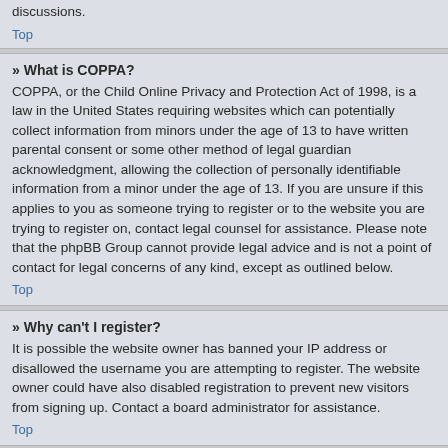discussions.
Top
» What is COPPA?
COPPA, or the Child Online Privacy and Protection Act of 1998, is a law in the United States requiring websites which can potentially collect information from minors under the age of 13 to have written parental consent or some other method of legal guardian acknowledgment, allowing the collection of personally identifiable information from a minor under the age of 13. If you are unsure if this applies to you as someone trying to register or to the website you are trying to register on, contact legal counsel for assistance. Please note that the phpBB Group cannot provide legal advice and is not a point of contact for legal concerns of any kind, except as outlined below.
Top
» Why can't I register?
It is possible the website owner has banned your IP address or disallowed the username you are attempting to register. The website owner could have also disabled registration to prevent new visitors from signing up. Contact a board administrator for assistance.
Top
» What does the “Delete all board cookies” do?